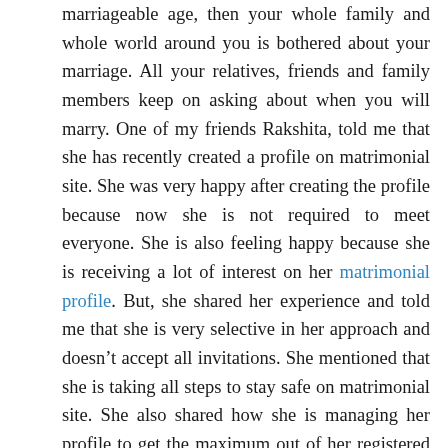marriageable age, then your whole family and whole world around you is bothered about your marriage. All your relatives, friends and family members keep on asking about when you will marry. One of my friends Rakshita, told me that she has recently created a profile on matrimonial site. She was very happy after creating the profile because now she is not required to meet everyone. She is also feeling happy because she is receiving a lot of interest on her matrimonial profile. But, she shared her experience and told me that she is very selective in her approach and doesn't accept all invitations. She mentioned that she is taking all steps to stay safe on matrimonial site. She also shared how she is managing her profile to get the maximum out of her registered profile. I am here sharing some of the tips shared by her to manage the matrimonial profile and managing the interest received on the profile.
Check the profile: Always check the profile before you